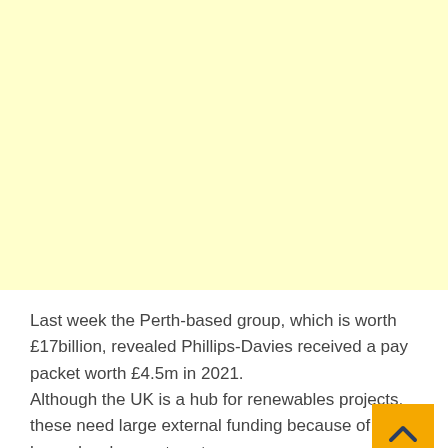[Figure (other): Light yellow advertisement or placeholder area occupying the top portion of the page]
Last week the Perth-based group, which is worth £17billion, revealed Phillips-Davies received a pay packet worth £4.5m in 2021.
Although the UK is a hub for renewables projects, these need large external funding because of their huge development costs.